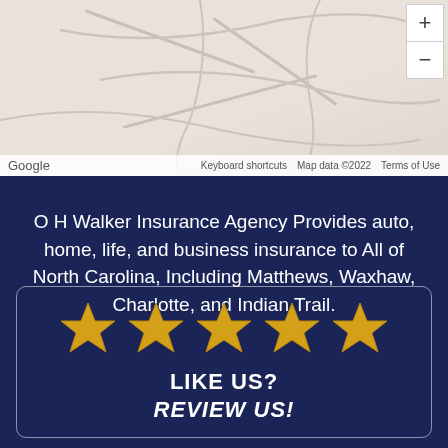[Figure (map): Google Maps screenshot showing road map of a rural area in North Carolina with zoom controls (+/-) in the top right corner. Map footer shows Google logo, 'Keyboard shortcuts', 'Map data ©2022', and 'Terms of Use'.]
O H Walker Insurance Agency Provides auto, home, life, and business insurance to All of North Carolina, Including Matthews, Waxhaw, Charlotte, and Indian Trail.
[Figure (infographic): A bordered box with 5 gold star icons, text 'LIKE US?' and italic bold text 'REVIEW US!']